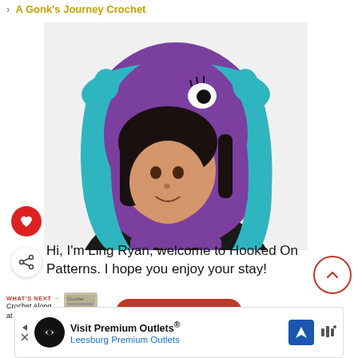> A Gonk's Journey Crochet
[Figure (photo): Woman wearing a purple and teal crochet monster hood/hat with ear flaps, smiling at camera, black top]
Hi, I'm Ling Ryan, welcome to Hooked On Patterns. I hope you enjoy your stay!
WHAT'S NEXT → Crochet Along at Hooked O...
Subscribe
Visit Premium Outlets® Leesburg Premium Outlets